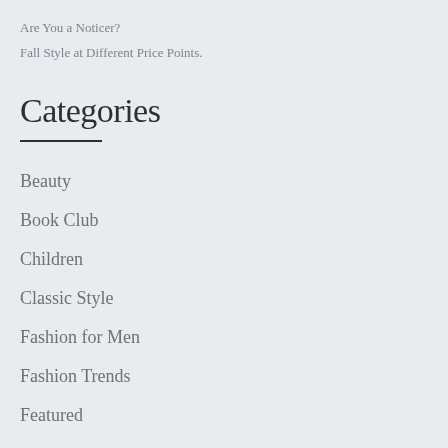Are You a Noticer?
Fall Style at Different Price Points.
Categories
Beauty
Book Club
Children
Classic Style
Fashion for Men
Fashion Trends
Featured